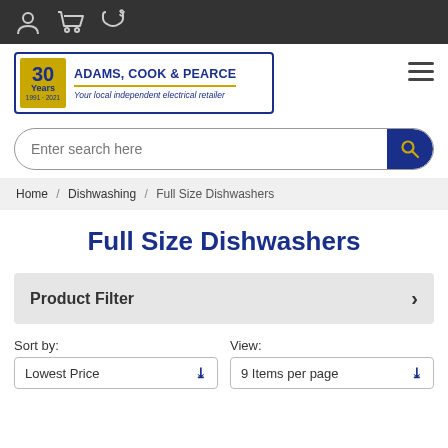Adams, Cook & Pearce – navigation bar with user, cart, and phone icons
[Figure (logo): Adams, Cook & Pearce 30 Years logo – gold badge with '30 Years 1991-2021' and blue text 'ADAMS, COOK & PEARCE / Your local independent electrical retailer']
Enter search here
Home / Dishwashing / Full Size Dishwashers
Full Size Dishwashers
Product Filter
Sort by:
View:
Lowest Price
9 Items per page